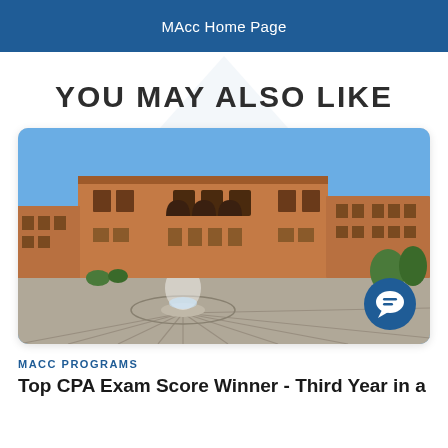MAcc Home Page
YOU MAY ALSO LIKE
[Figure (photo): Exterior photograph of a large brick university building with arched windows and a fountain in the foreground plaza. Clear blue sky in background. A chat/comment bubble icon appears in the lower right corner of the image.]
MACC PROGRAMS
Top CPA Exam Score Winner - Third Year in a